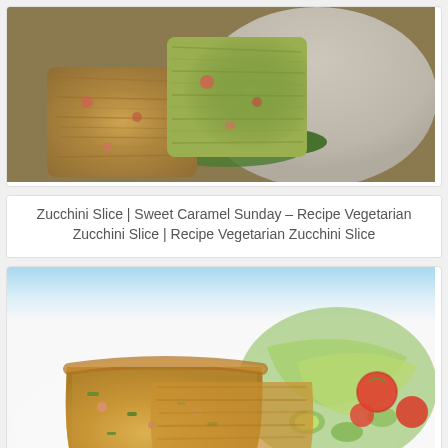[Figure (photo): Photo of zucchini slice pieces on a white plate with green spinach leaves, showing browned cheesy exterior with vegetable filling]
Zucchini Slice | Sweet Caramel Sunday – Recipe Vegetarian Zucchini Slice | Recipe Vegetarian Zucchini Slice
[Figure (photo): Photo of two pieces of zucchini slice on a white plate served with a fresh garden salad including cherry tomatoes, cucumber, and lettuce, with light blue background]